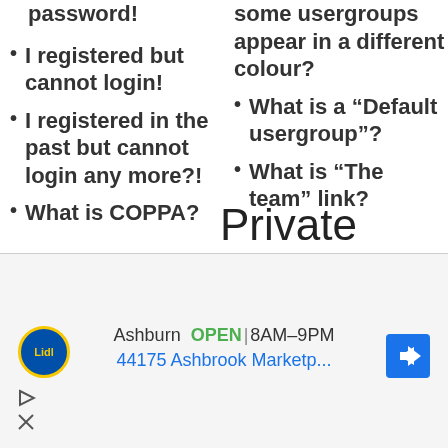I registered but cannot login!
some usergroups appear in a different colour?
I registered in the past but cannot login any more?!
What is a “Default usergroup”?
What is “The team” link?
What is COPPA?
Private
[Figure (other): Advertisement banner for Lidl store in Ashburn showing OPEN 8AM-9PM, address 44175 Ashbrook Marketp..., with Lidl logo and navigation arrow]